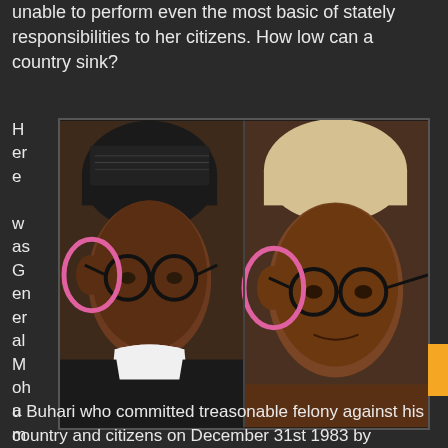unable to perform even the most basic of stately responsibilities to her citizens. How low can a country sink?
[Figure (photo): Side-by-side comparison photos of two men's faces with pink circles drawn around their ears. Left photo shows a man wearing a dark green/black traditional hat with patterns and glasses. Right photo shows a man wearing a light beige traditional hat and glasses. Both photos have pink hand-drawn oval circles highlighting the ear areas.]
Here was General Mohammad u Buhari who committed treasonable felony against his country and citizens on December 31st 1983 by